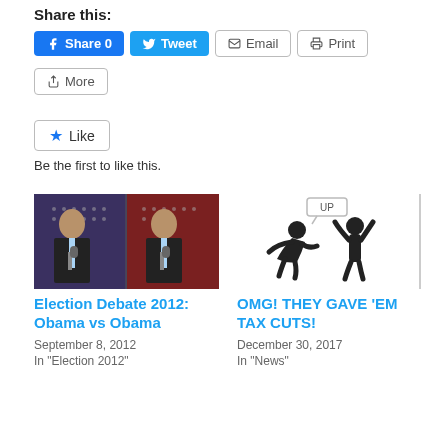Share this:
Share 0   Tweet   Email   Print   More
Like
Be the first to like this.
[Figure (photo): Two side-by-side photos of a man (resembling Obama) speaking at a microphone in front of an American flag background.]
Election Debate 2012: Obama vs Obama
September 8, 2012
In "Election 2012"
[Figure (illustration): Black and white illustration of two silhouetted figures, one crouching and one standing with arms raised. A speech bubble above says 'UP'.]
OMG! THEY GAVE ‘EM TAX CUTS!
December 30, 2017
In "News"